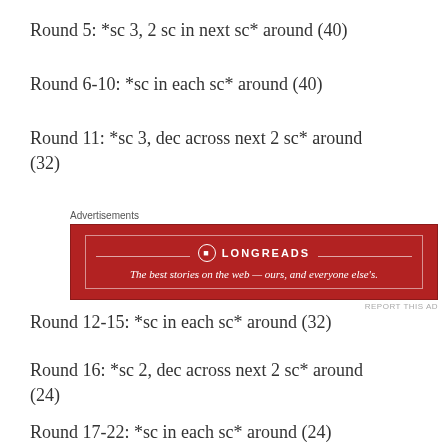Round 5: *sc 3, 2 sc in next sc* around (40)
Round 6-10: *sc in each sc* around (40)
Round 11: *sc 3, dec across next 2 sc* around (32)
[Figure (other): Longreads advertisement banner: red background with white text reading 'The best stories on the web — ours, and everyone else's.']
Round 12-15: *sc in each sc* around (32)
Round 16: *sc 2, dec across next 2 sc* around (24)
Round 17-22: *sc in each sc* around (24)